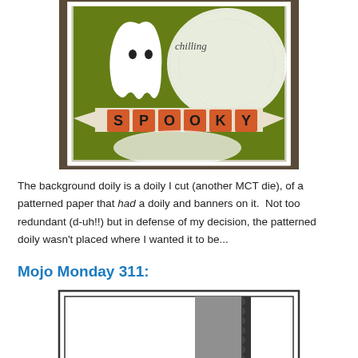[Figure (photo): A Halloween-themed handmade card featuring a white ghost cutout, a lace doily, and the word SPOOKY in orange/black block letters on a green patterned paper background. The word 'chilling' appears in script near the ghost.]
The background doily is a doily I cut (another MCT die), of a patterned paper that had a doily and banners on it.  Not too redundant (d-uh!!) but in defense of my decision, the patterned doily wasn't placed where I wanted it to be...
Mojo Monday 311:
[Figure (illustration): A card layout diagram (Mojo Monday 311 sketch) showing a card sketch with a large white panel on the left, a gray vertical band in the center-right, a scalloped/zig-zag edge strip, and a green circle element at the bottom right. Black border outlines the card.]